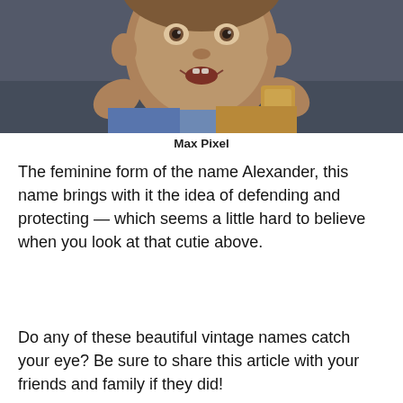[Figure (photo): Close-up photo of a young child looking up at the camera with an open-mouthed smile, holding crackers, against a dark background. The child appears to be wearing colorful clothing.]
Max Pixel
The feminine form of the name Alexander, this name brings with it the idea of defending and protecting — which seems a little hard to believe when you look at that cutie above.
Do any of these beautiful vintage names catch your eye? Be sure to share this article with your friends and family if they did!